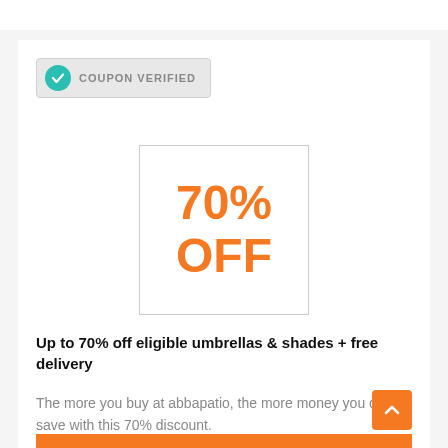[Figure (other): Coupon verified badge with teal checkmark icon and text COUPON VERIFIED on gray background]
[Figure (other): White bordered box displaying 70% OFF in large orange bold text]
Up to 70% off eligible umbrellas & shades + free delivery
The more you buy at abbapatio, the more money you can save with this 70% discount.